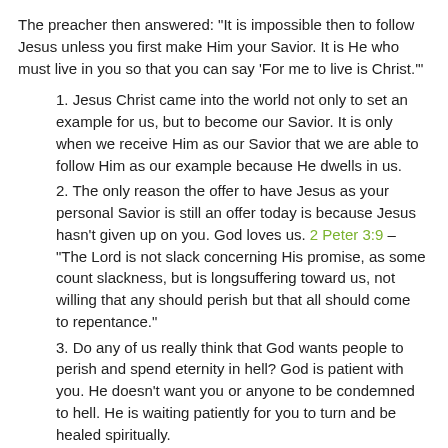The preacher then answered: "It is impossible then to follow Jesus unless you first make Him your Savior. It is He who must live in you so that you can say 'For me to live is Christ.'"
1. Jesus Christ came into the world not only to set an example for us, but to become our Savior. It is only when we receive Him as our Savior that we are able to follow Him as our example because He dwells in us.
2. The only reason the offer to have Jesus as your personal Savior is still an offer today is because Jesus hasn't given up on you. God loves us. 2 Peter 3:9 – "The Lord is not slack concerning His promise, as some count slackness, but is longsuffering toward us, not willing that any should perish but that all should come to repentance."
3. Do any of us really think that God wants people to perish and spend eternity in hell? God is patient with you. He doesn't want you or anyone to be condemned to hell. He is waiting patiently for you to turn and be healed spiritually.
B. Please don't ever think though that Jesus is not going to return for Judgment Day until [GO TO TOP button] Peter tells us in 2 Peter 3:10 – "But the day of the [GO TO TOP] ome as a thief in the night..."